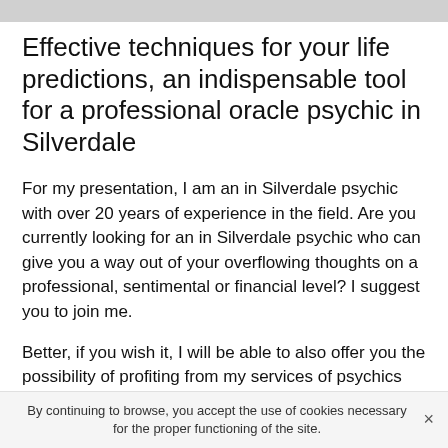Effective techniques for your life predictions, an indispensable tool for a professional oracle psychic in Silverdale
For my presentation, I am an in Silverdale psychic with over 20 years of experience in the field. Are you currently looking for an in Silverdale psychic who can give you a way out of your overflowing thoughts on a professional, sentimental or financial level? I suggest you to join me.
Better, if you wish it, I will be able to also offer you the possibility of profiting from my services of psychics through a clairvoyance by phone. You are not without knowing that the number of true professionals holding this gift is sufficiently small. So if you embark on this quest to find serious ones, the probability that you will be disappointed
By continuing to browse, you accept the use of cookies necessary for the proper functioning of the site.